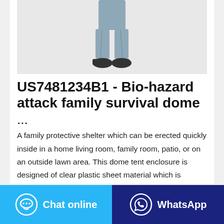[Figure (photo): Photo of a person wearing a gray protective suit/coverall, showing lower body and feet with dark shoes, against a light gray background.]
US7481234B1 - Bio-hazard attack family survival dome ...
A family protective shelter which can be erected quickly inside in a home living room, family room, patio, or on an outside lawn area. This dome tent enclosure is designed of clear plastic sheet material which is impervious to gases used to conduct chemical warfare (such as nerve gas, mustard gas, serin, cyanide, and the like) dispersed biohazard aerosol compounds (such as anthrax,